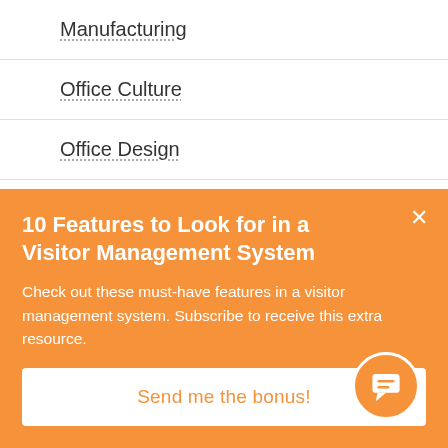Manufacturing
Office Culture
Office Design
Office Management
Office Productivity
10 Features to Look for in a Visitor Management System
Check out these must-have features in a visitor management system. Subscribe to receive this extra resource.
Send me the bonus!